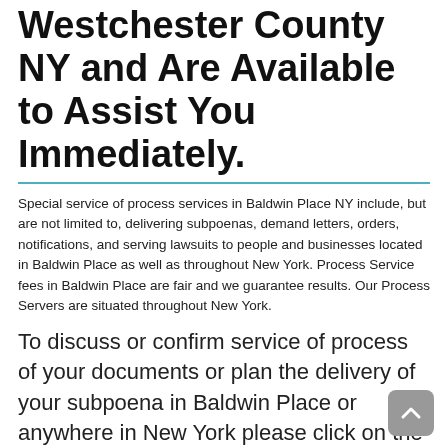Westchester County NY and Are Available to Assist You Immediately.
Special service of process services in Baldwin Place NY include, but are not limited to, delivering subpoenas, demand letters, orders, notifications, and serving lawsuits to people and businesses located in Baldwin Place as well as throughout New York. Process Service fees in Baldwin Place are fair and we guarantee results. Our Process Servers are situated throughout New York.
To discuss or confirm service of process of your documents or plan the delivery of your subpoena in Baldwin Place or anywhere in New York please click on the CONTACT button above.